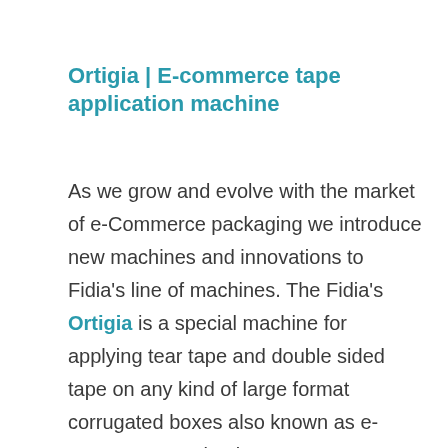Ortigia | E-commerce tape application machine
As we grow and evolve with the market of e-Commerce packaging we introduce new machines and innovations to Fidia's line of machines. The Fidia's Ortigia is a special machine for applying tear tape and double sided tape on any kind of large format corrugated boxes also known as e-Commerce packaging.